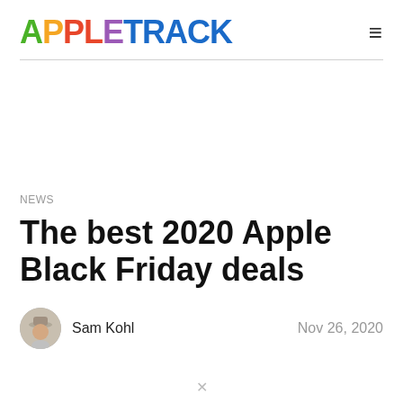[Figure (logo): AppleTrack logo in multicolor letters]
NEWS
The best 2020 Apple Black Friday deals
Sam Kohl   Nov 26, 2020